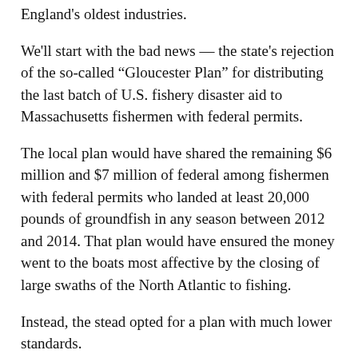England's oldest industries.
We'll start with the bad news — the state's rejection of the so-called "Gloucester Plan" for distributing the last batch of U.S. fishery disaster aid to Massachusetts fishermen with federal permits.
The local plan would have shared the remaining $6 million and $7 million of federal among fishermen with federal permits who landed at least 20,000 pounds of groundfish in any season between 2012 and 2014. That plan would have ensured the money went to the boats most affective by the closing of large swaths of the North Atlantic to fishing.
Instead, the stead opted for a plan with much lower standards.
Read the editorial from the Gloucester Daily Times